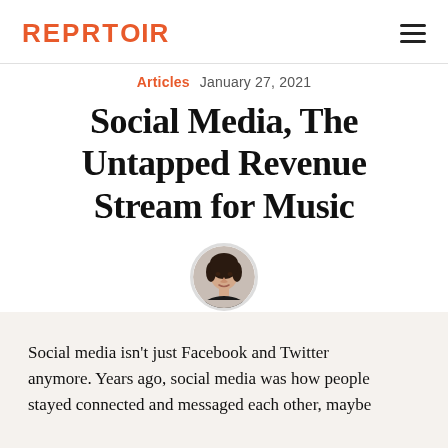REPRTOIR
Articles  January 27, 2021
Social Media, The Untapped Revenue Stream for Music
[Figure (photo): Circular author headshot photo of a woman with dark hair]
Social media isn't just Facebook and Twitter anymore. Years ago, social media was how people stayed connected and messaged each other, maybe